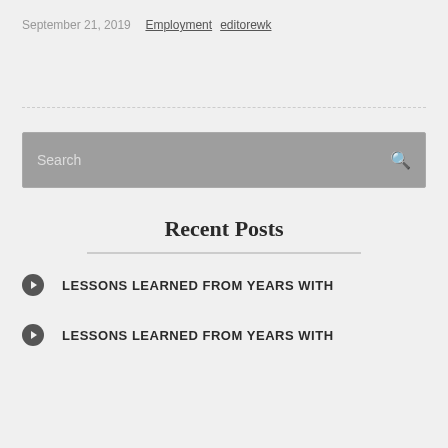September 21, 2019  Employment  editorewk
Search
Recent Posts
LESSONS LEARNED FROM YEARS WITH
LESSONS LEARNED FROM YEARS WITH